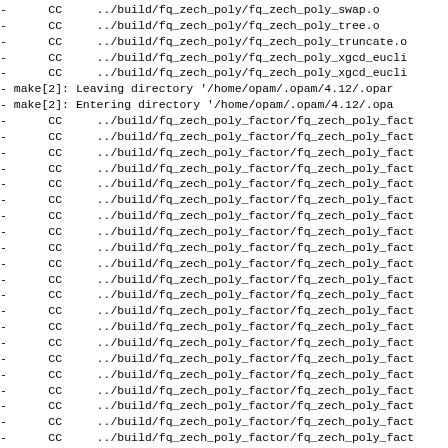-      CC     ../build/fq_zech_poly/fq_zech_poly_swap.o
-      CC     ../build/fq_zech_poly/fq_zech_poly_tree.o
-      CC     ../build/fq_zech_poly/fq_zech_poly_truncate.o
-      CC     ../build/fq_zech_poly/fq_zech_poly_xgcd_eucli
-      CC     ../build/fq_zech_poly/fq_zech_poly_xgcd_eucli
- make[2]: Leaving directory '/home/opam/.opam/4.12/.opar
- make[2]: Entering directory '/home/opam/.opam/4.12/.opa
-      CC     ../build/fq_zech_poly_factor/fq_zech_poly_fac
-      CC     ../build/fq_zech_poly_factor/fq_zech_poly_fac
-      CC     ../build/fq_zech_poly_factor/fq_zech_poly_fac
-      CC     ../build/fq_zech_poly_factor/fq_zech_poly_fac
-      CC     ../build/fq_zech_poly_factor/fq_zech_poly_fac
-      CC     ../build/fq_zech_poly_factor/fq_zech_poly_fac
-      CC     ../build/fq_zech_poly_factor/fq_zech_poly_fac
-      CC     ../build/fq_zech_poly_factor/fq_zech_poly_fac
-      CC     ../build/fq_zech_poly_factor/fq_zech_poly_fac
-      CC     ../build/fq_zech_poly_factor/fq_zech_poly_fac
-      CC     ../build/fq_zech_poly_factor/fq_zech_poly_fac
-      CC     ../build/fq_zech_poly_factor/fq_zech_poly_fac
-      CC     ../build/fq_zech_poly_factor/fq_zech_poly_fac
-      CC     ../build/fq_zech_poly_factor/fq_zech_poly_fac
-      CC     ../build/fq_zech_poly_factor/fq_zech_poly_fac
-      CC     ../build/fq_zech_poly_factor/fq_zech_poly_fac
-      CC     ../build/fq_zech_poly_factor/fq_zech_poly_fac
-      CC     ../build/fq_zech_poly_factor/fq_zech_poly_fac
-      CC     ../build/fq_zech_poly_factor/fq_zech_poly_fac
-      CC     ../build/fq_zech_poly_factor/fq_zech_poly_fac
-      CC     ../build/fq_zech_poly_factor/fq_zech_poly_fac
-      CC     ../build/fq_zech_poly_factor/fq_zech_poly_fac
-      CC     ../build/fq_zech_poly_factor/fq_zech_poly_fac